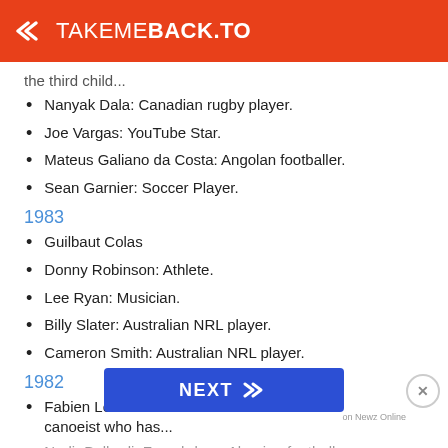TAKEMEBACK.TO
the third child...
Nanyak Dala: Canadian rugby player.
Joe Vargas: YouTube Star.
Mateus Galiano da Costa: Angolan footballer.
Sean Garnier: Soccer Player.
1983
Guilbaut Colas
Donny Robinson: Athlete.
Lee Ryan: Musician.
Billy Slater: Australian NRL player.
Cameron Smith: Australian NRL player.
1982
Fabien Lefèvre: Franco-American slalom canoeist who has...
Nadir Belhadi: French-born Algerian footballer.
Arthur Dan...
Vadim Pru...